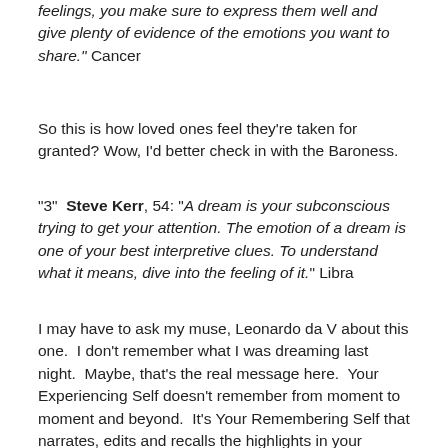feelings, you make sure to express them well and give plenty of evidence of the emotions you want to share." Cancer
So this is how loved ones feel they're taken for granted? Wow, I'd better check in with the Baroness.
"3"  Steve Kerr, 54: "A dream is your subconscious trying to get your attention. The emotion of a dream is one of your best interpretive clues. To understand what it means, dive into the feeling of it." Libra
I may have to ask my muse, Leonardo da V about this one.  I don't remember what I was dreaming last night.  Maybe, that's the real message here.  Your Experiencing Self doesn't remember from moment to moment and beyond.  It's Your Remembering Self that narrates, edits and recalls the highlights in your working memory.